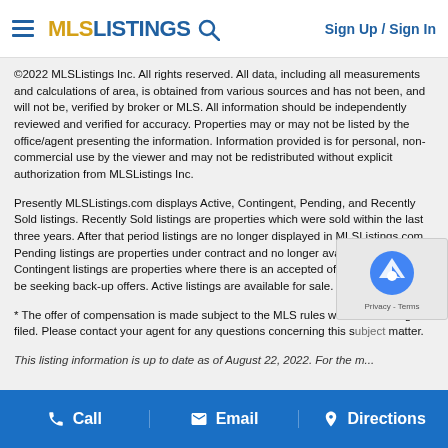MLSListings Sign Up / Sign In
©2022 MLSListings Inc. All rights reserved. All data, including all measurements and calculations of area, is obtained from various sources and has not been, and will not be, verified by broker or MLS. All information should be independently reviewed and verified for accuracy. Properties may or may not be listed by the office/agent presenting the information. Information provided is for personal, non-commercial use by the viewer and may not be redistributed without explicit authorization from MLSListings Inc.
Presently MLSListings.com displays Active, Contingent, Pending, and Recently Sold listings. Recently Sold listings are properties which were sold within the last three years. After that period listings are no longer displayed in MLSListings.com. Pending listings are properties under contract and no longer available for sale. Contingent listings are properties where there is an accepted offer, and seller may be seeking back-up offers. Active listings are available for sale.
* The offer of compensation is made subject to the MLS rules where the listing is filed. Please contact your agent for any questions concerning this subject matter.
This listing information is up to date as of August 22, 2022. For the m...
Call  Email  Directions